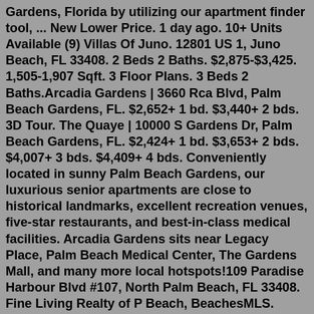Gardens, Florida by utilizing our apartment finder tool, ... New Lower Price. 1 day ago. 10+ Units Available (9) Villas Of Juno. 12801 US 1, Juno Beach, FL 33408. 2 Beds 2 Baths. $2,875-$3,425. 1,505-1,907 Sqft. 3 Floor Plans. 3 Beds 2 Baths.Arcadia Gardens | 3660 Rca Blvd, Palm Beach Gardens, FL. $2,652+ 1 bd. $3,440+ 2 bds. 3D Tour. The Quaye | 10000 S Gardens Dr, Palm Beach Gardens, FL. $2,424+ 1 bd. $3,653+ 2 bds. $4,007+ 3 bds. $4,409+ 4 bds. Conveniently located in sunny Palm Beach Gardens, our luxurious senior apartments are close to historical landmarks, excellent recreation venues, five-star restaurants, and best-in-class medical facilities. Arcadia Gardens sits near Legacy Place, Palm Beach Medical Center, The Gardens Mall, and many more local hotspots!109 Paradise Harbour Blvd #107, North Palm Beach, FL 33408. Fine Living Realty of P Beach, BeachesMLS. $249,000. 2bd. 2ba. 860 sqft. 296 Cypress Point Dr, Palm Beach Gardens, FL 33418. Official New Palm Beach Apartments for rent . See floor plans, pictures, amenities & info for available N...